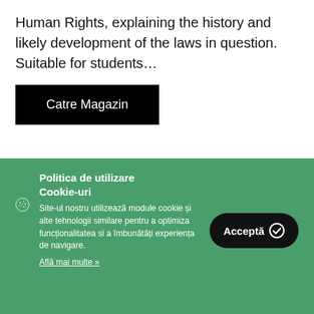Human Rights, explaining the history and likely development of the laws in question. Suitable for students…
Catre Magazin
Politica de utilizare Cookie-uri
Site-ul nostru utilizează module cookie și alte tehnologii similare pentru a optimiza funcționalitatea si a îmbunătăți experiența de navigare.
Află mai multe »
Acceptă